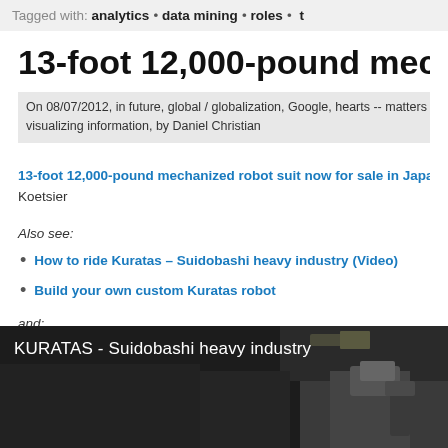Tagged with: analytics • data mining • roles •
13-foot 12,000-pound mechanized rob
On 08/07/2012, in future, global / globalization, Google, hearts -- matters of the heart, po visualizing information, by Daniel Christian
13-foot 12,000-pound mechanized robot suit now for sale in Japan — from w Koetsier
Also see:
How to ride Kuratas – Suidobashi heavy industry (Video)
Build your own custom Kuratas robot
and:
[Figure (screenshot): Video thumbnail showing KURATAS - Suidobashi heavy industry with dark background and robot imagery]